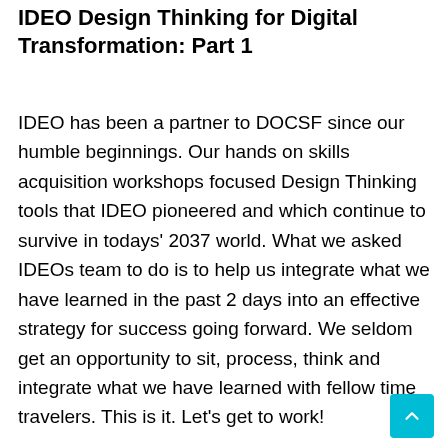IDEO Design Thinking for Digital Transformation: Part 1
IDEO has been a partner to DOCSF since our humble beginnings. Our hands on skills acquisition workshops focused Design Thinking tools that IDEO pioneered and which continue to survive in todays' 2037 world. What we asked IDEOs team to do is to help us integrate what we have learned in the past 2 days into an effective strategy for success going forward. We seldom get an opportunity to sit, process, think and integrate what we have learned with fellow time travelers. This is it. Let's get to work!